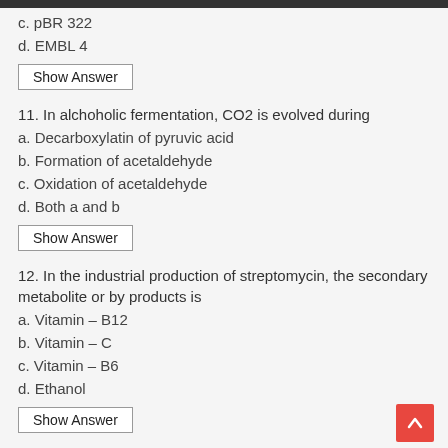c. pBR 322
d. EMBL 4
Show Answer
11. In alchoholic fermentation, CO2 is evolved during
a. Decarboxylatin of pyruvic acid
b. Formation of acetaldehyde
c. Oxidation of acetaldehyde
d. Both a and b
Show Answer
12. In the industrial production of streptomycin, the secondary metabolite or by products is
a. Vitamin – B12
b. Vitamin – C
c. Vitamin – B6
d. Ethanol
Show Answer